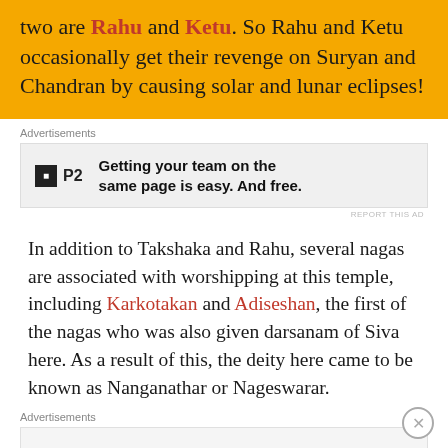two are Rahu and Ketu. So Rahu and Ketu occasionally get their revenge on Suryan and Chandran by causing solar and lunar eclipses!
Advertisements
[Figure (other): Advertisement banner for P2 with logo and text: Getting your team on the same page is easy. And free.]
In addition to Takshaka and Rahu, several nagas are associated with worshipping at this temple, including Karkotakan and Adiseshan, the first of the nagas who was also given darsanam of Siva here. As a result of this, the deity here came to be known as Nanganathar or Nageswarar.
Advertisements